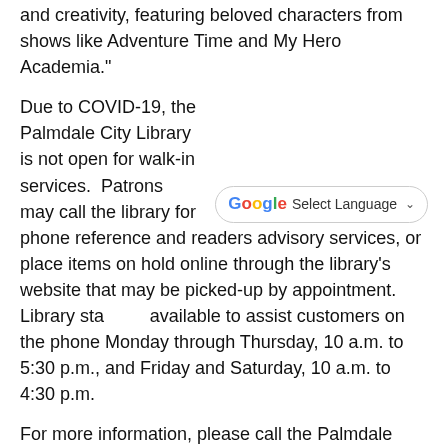and creativity, featuring beloved characters from shows like Adventure Time and My Hero Academia."
Due to COVID-19, the Palmdale City Library is not open for walk-in services.  Patrons may call the library for phone reference and readers advisory services, or place items on hold online through the library's website that may be picked-up by appointment.  Library staff are available to assist customers on the phone Monday through Thursday, 10 a.m. to 5:30 p.m., and Friday and Saturday, 10 a.m. to 4:30 p.m.
For more information, please call the Palmdale City Library at 661/267-5600 or TDD 267-5167, or visit www.cityofpalmdale.org/library.
[Figure (infographic): Social sharing icons: Facebook (f), Twitter (bird), and email (envelope), each in a small rounded square border]
Previous: City of Palmdale to Host Bookworm Virtual Story Time | Next: City of Palmdale to Host Virtual Tail-of-True-Love Event